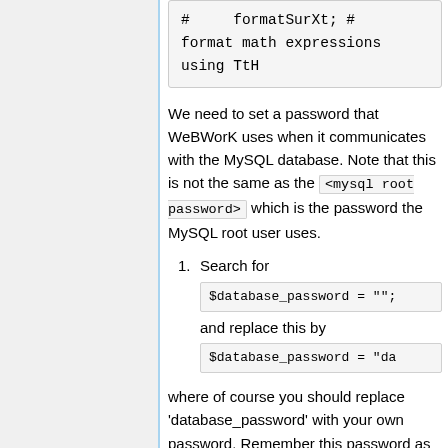# formatSurXt; # format math expressions using TtH
We need to set a password that WeBWorK uses when it communicates with the MySQL database. Note that this is not the same as the <mysql root password> which is the password the MySQL root user uses.
1. Search for $database_password = ""; and replace this by $database_password = "da
where of course you should replace 'database_password' with your own password. Remember this password as we will need it below.